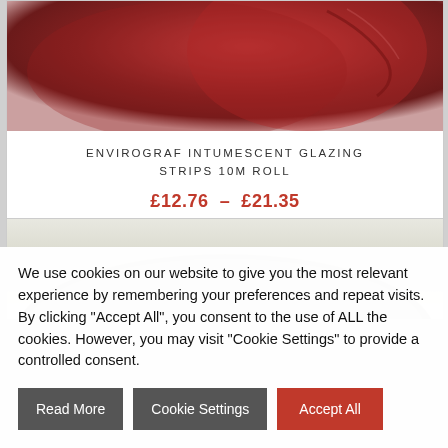[Figure (photo): Close-up photo of a red intumescent glazing strip product rolled up, showing textured red material]
ENVIROGRAF INTUMESCENT GLAZING STRIPS 10M ROLL
£12.76 – £21.35
SELECT OPTIONS
[Figure (photo): Partial view of a white/cream coloured intumescent product, rounded shape visible at top of second product card]
We use cookies on our website to give you the most relevant experience by remembering your preferences and repeat visits. By clicking "Accept All", you consent to the use of ALL the cookies. However, you may visit "Cookie Settings" to provide a controlled consent.
Read More
Cookie Settings
Accept All